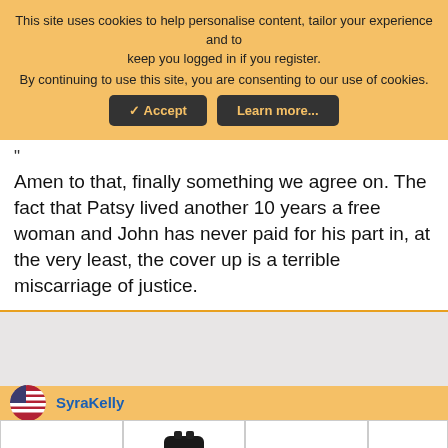This site uses cookies to help personalise content, tailor your experience and to keep you logged in if you register. By continuing to use this site, you are consenting to our use of cookies.
✓ Accept | Learn more...
"
Amen to that, finally something we agree on. The fact that Patsy lived another 10 years a free woman and John has never paid for his part in, at the very least, the cover up is a terrible miscarriage of justice.
[Figure (screenshot): Advertisement block with grey background]
SyraKelly
[Figure (photo): Row of three product advertisement images: a trailer hitch coupler, a black multi-cylinder component, and a metal pipe/tube. With a logo and ad controls on the right.]